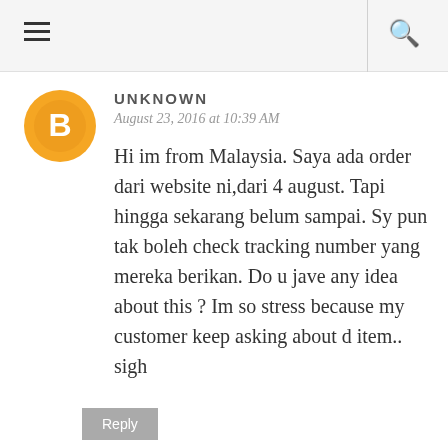≡  🔍
UNKNOWN
August 23, 2016 at 10:39 AM
Hi im from Malaysia. Saya ada order dari website ni,dari 4 august. Tapi hingga sekarang belum sampai. Sy pun tak boleh check tracking number yang mereka berikan. Do u jave any idea about this ? Im so stress because my customer keep asking about d item.. sigh
Reply